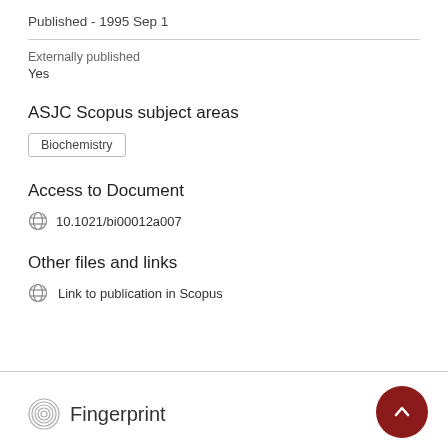Published - 1995 Sep 1
Externally published
Yes
ASJC Scopus subject areas
Biochemistry
Access to Document
10.1021/bi00012a007
Other files and links
Link to publication in Scopus
Fingerprint